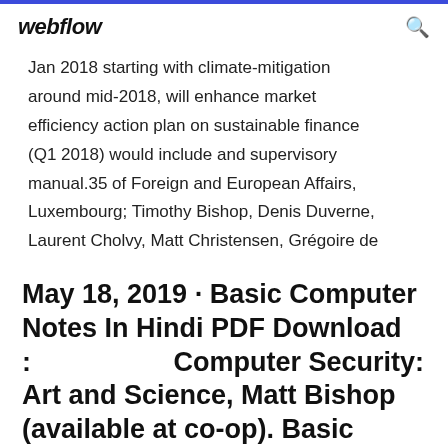webflow
Jan 2018 starting with climate-mitigation around mid-2018, will enhance market efficiency action plan on sustainable finance (Q1 2018) would include and supervisory manual.35 of Foreign and European Affairs, Luxembourg; Timothy Bishop, Denis Duverne, Laurent Cholvy, Matt Christensen, Grégoire de
May 18, 2019 · Basic Computer Notes In Hindi PDF Download :                    Computer Security: Art and Science, Matt Bishop (available at co-op). Basic Computer Notes In Hindi 2018